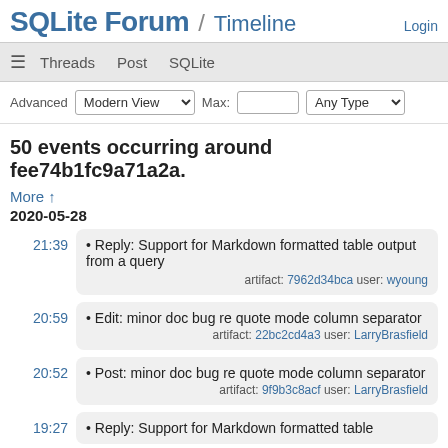SQLite Forum / Timeline
Login
≡ Threads Post SQLite
Advanced Modern View Max: Any Type
50 events occurring around fee74b1fc9a71a2a.
More ↑
2020-05-28
21:39 • Reply: Support for Markdown formatted table output from a query artifact: 7962d34bca user: wyoung
20:59 • Edit: minor doc bug re quote mode column separator artifact: 22bc2cd4a3 user: LarryBrasfield
20:52 • Post: minor doc bug re quote mode column separator artifact: 9f9b3c8acf user: LarryBrasfield
19:27 • Reply: Support for Markdown formatted table